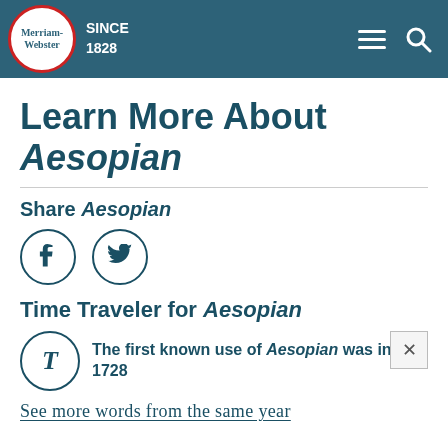Merriam-Webster SINCE 1828
Learn More About Aesopian
Share Aesopian
[Figure (other): Facebook and Twitter share buttons (circular icons)]
Time Traveler for Aesopian
The first known use of Aesopian was in 1728
See more words from the same year